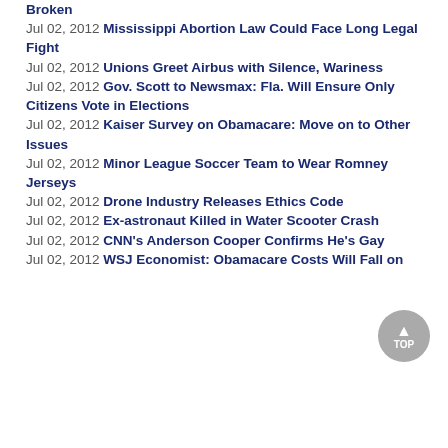Broken
Jul 02, 2012 Mississippi Abortion Law Could Face Long Legal Fight
Jul 02, 2012 Unions Greet Airbus with Silence, Wariness
Jul 02, 2012 Gov. Scott to Newsmax: Fla. Will Ensure Only Citizens Vote in Elections
Jul 02, 2012 Kaiser Survey on Obamacare: Move on to Other Issues
Jul 02, 2012 Minor League Soccer Team to Wear Romney Jerseys
Jul 02, 2012 Drone Industry Releases Ethics Code
Jul 02, 2012 Ex-astronaut Killed in Water Scooter Crash
Jul 02, 2012 CNN's Anderson Cooper Confirms He's Gay
Jul 02, 2012 WSJ Economist: Obamacare Costs Will Fall on